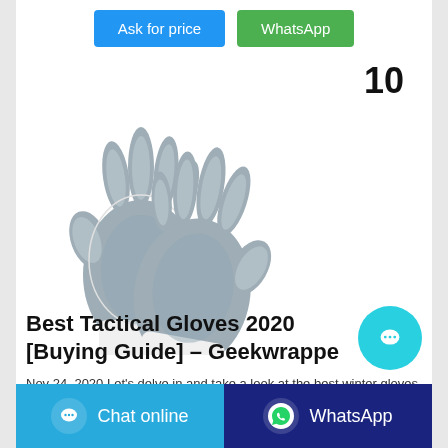Ask for price | WhatsApp
10
[Figure (photo): Two white and grey nitrile-coated work gloves facing each other]
Best Tactical Gloves 2020 [Buying Guide] – Geekwrapped
Nov 24, 2020·Let's delve in and take a look at the best winter gloves for men. The Best Men's Glove. 1. Carhartt
Chat online
WhatsApp